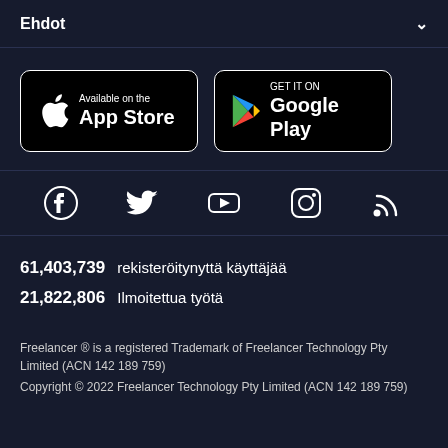Ehdot
[Figure (logo): App Store and Google Play download buttons side by side on dark background]
[Figure (infographic): Social media icons: Facebook, Twitter, YouTube, Instagram, RSS feed]
61,403,739  rekisteröitynyttä käyttäjää
21,822,806  Ilmoitettua työtä
Freelancer ® is a registered Trademark of Freelancer Technology Pty Limited (ACN 142 189 759)
Copyright © 2022 Freelancer Technology Pty Limited (ACN 142 189 759)